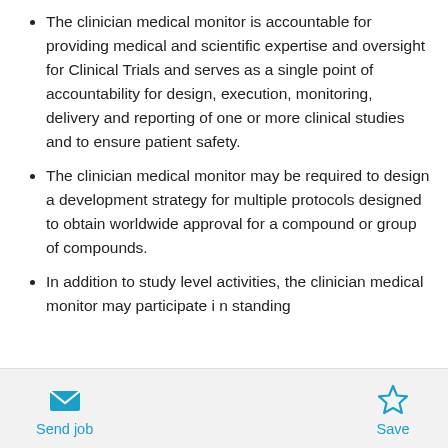The clinician medical monitor is accountable for providing medical and scientific expertise and oversight for Clinical Trials and serves as a single point of accountability for design, execution, monitoring, delivery and reporting of one or more clinical studies and to ensure patient safety.
The clinician medical monitor may be required to design a development strategy for multiple protocols designed to obtain worldwide approval for a compound or group of compounds.
In addition to study level activities, the clinician medical monitor may participate i n standing
[Figure (other): Send job envelope icon button]
[Figure (other): Save star icon button]